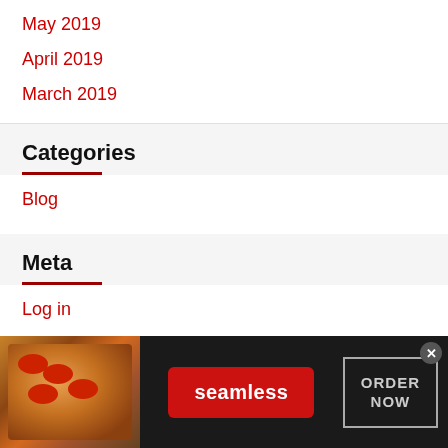May 2019
April 2019
March 2019
Categories
Blog
Meta
Log in
[Figure (other): Seamless food ordering advertisement banner with pizza image, Seamless logo button, and ORDER NOW button with close icon]